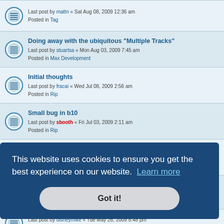Last post by mattn « Sat Aug 08, 2009 12:36 am
Posted in Tag
Doing away with the ubiquitous "Multiple Tracks"
Last post by stuartsa « Mon Aug 03, 2009 7:45 am
Posted in Max Development
Initial thoughts
Last post by fracai « Wed Jul 08, 2009 2:56 am
Posted in Rip
Small bug in b10
Last post by sbooth « Fri Jul 03, 2009 2:11 am
Posted in Rip
Dock contextual menu not updated
Last post by olafmarzocchi « Thu Jun 18, 2009 8:58 pm
Posted in Play Development
1.0b9 Great Improvement Indeed!
Last post by elduderino « Thu Jun 18, 2009 5:04 am
Posted in Rip
Last post by disneymike « Tue May 26, 2009 8:48 pm
Posted in Rip
This website uses cookies to ensure you get the best experience on our website. Learn more
Got it!